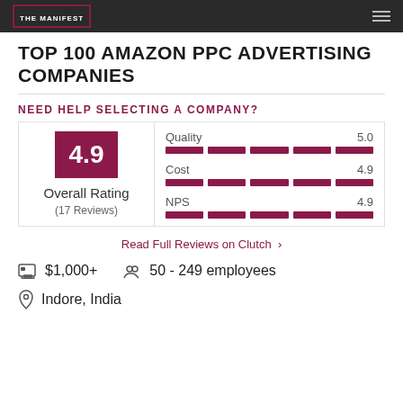THE MANIFEST
TOP 100 AMAZON PPC ADVERTISING COMPANIES
NEED HELP SELECTING A COMPANY?
[Figure (infographic): Rating card showing Overall Rating 4.9 with 17 Reviews, and sub-ratings: Quality 5.0, Cost 4.9, NPS 4.9, each with a full bar indicator]
Read Full Reviews on Clutch ›
$1,000+  50 - 249 employees
Indore, India